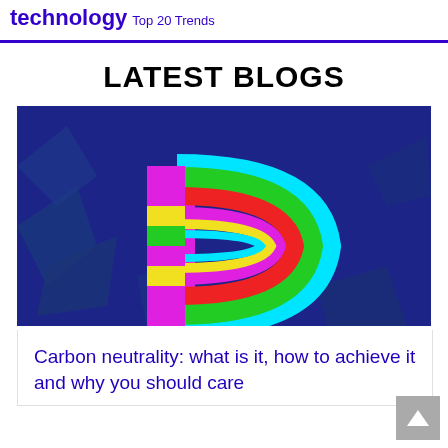technology Top 20 Trends
LATEST BLOGS
[Figure (logo): Colorful geometric D logo on dark blue background with rainbow layered D shapes in magenta, cyan, red, yellow, green colors]
Carbon neutrality: what is it, how to achieve it and why you should care